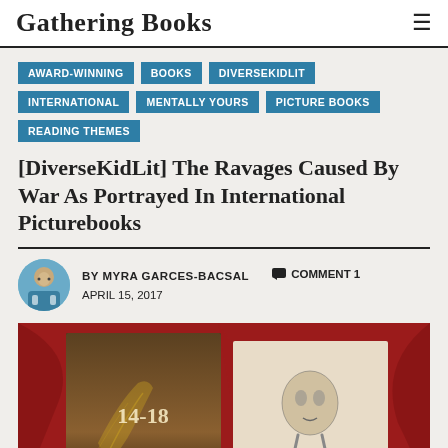Gathering Books
AWARD-WINNING
BOOKS
DIVERSEKIDLIT
INTERNATIONAL
MENTALLY YOURS
PICTURE BOOKS
READING THEMES
[DiverseKidLit] The Ravages Caused By War As Portrayed In International Picturebooks
BY MYRA GARCES-BACSAL   COMMENT 1
APRIL 15, 2017
[Figure (photo): Photo showing book covers on red fabric including '14-18' and 'Humo' picture books]